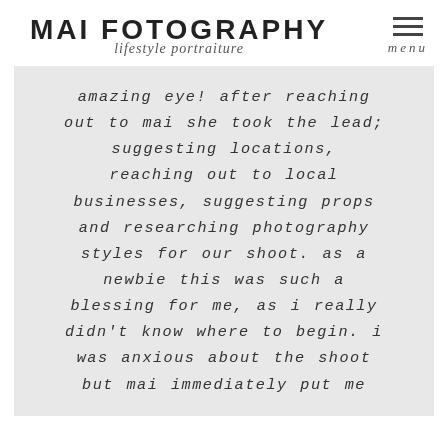MAI FOTOGRAPHY lifestyle portraiture
amazing eye! after reaching out to mai she took the lead; suggesting locations, reaching out to local businesses, suggesting props and researching photography styles for our shoot. as a newbie this was such a blessing for me, as i really didn't know where to begin. i was anxious about the shoot but mai immediately put me